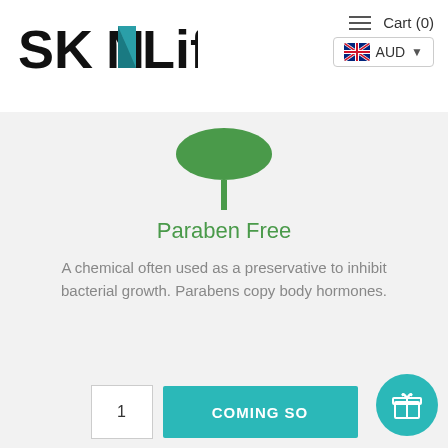[Figure (logo): SKNLife logo with teal N accent letter]
Cart (0)
[Figure (illustration): Green paraben-free icon: inverted bowl/dome shape on a stem]
Paraben Free
A chemical often used as a preservative to inhibit bacterial growth. Parabens copy body hormones.
1
COMING SO...